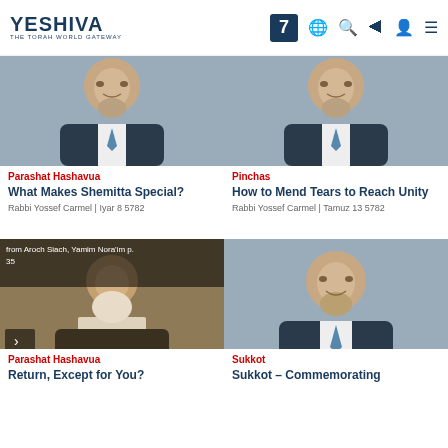YESHIVA | THE TORAH WORLD GATEWAY | [nav icons]
[Figure (photo): Man with beard in dark suit, gray background - top left card]
Parashat Hashavua
What Makes Shemitta Special?
Rabbi Yossef Carmel | Iyar 8 5782
[Figure (photo): Man with beard in dark suit, gray background - top right card]
Pinchas
How to Mend Tears to Reach Unity
Rabbi Yossef Carmel | Tamuz 13 5782
[Figure (photo): Sepia photo of elderly man reading - bottom left card with overlay text: from Aroch Siach, Yamim Nora'im p. 35]
Parashat Hashavua
Return, Except for You?
[Figure (photo): Man with beard smiling, gray background - bottom right card]
Sukkot
Sukkot – Commemorating